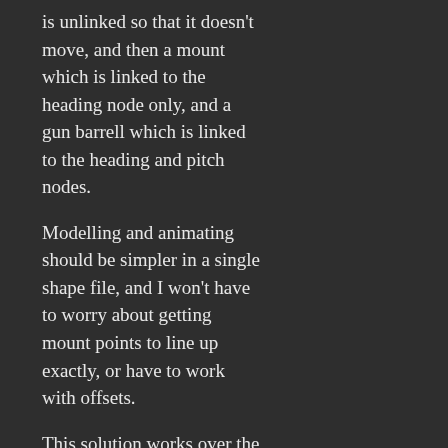is unlinked so that it doesn't move, and then a mount which is linked to the heading node only, and a gun barrell which is linked to the heading and pitch nodes.
Modelling and animating should be simpler in a single shape file, and I won't have to worry about getting mount points to line up exactly, or have to work with offsets.
This solution works over the network,